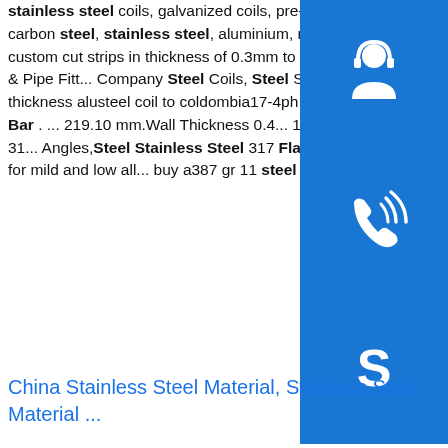stainless steel coils, galvanized coils, pre-painted coils and color coated coils. We sell carbon steel, stainless steel, aluminium, nickel alloy and special alloy steel coils and custom cut strips in thickness of 0.3mm to 8. T... Global Steel Pipes, Plates, Coils, Strips & Pipe Fitt... Company Steel Coils, Steel Sheets, Steel Strips, [...]sp.info 317 0 7mm thickness alusteel coil to coldombia17-4ph Square Bar,17-4 Ph Flat Bar an... 4ph Round Bar . ... 219.10 mm.Wall Thickness 0.4... 12.70 mm. Stainless Steel 317/317L Flates,SS 31... Angles,Steel Stainless Steel 317 Flat Angles ... sa... submerged arc welding wires for mild and low all... buy a387 gr 11 steel sheet.
[Figure (illustration): Blue customer support icon with headset and person silhouette]
[Figure (illustration): Blue phone/call icon with signal waves]
[Figure (illustration): Blue Skype logo icon]
China Stainless Steel Material, Stainless Steel Material ...
[Figure (photo): Thumbnail image of brushed stainless steel surface]
China Stainless Steel Material manufacturers - Select 2021 high quality